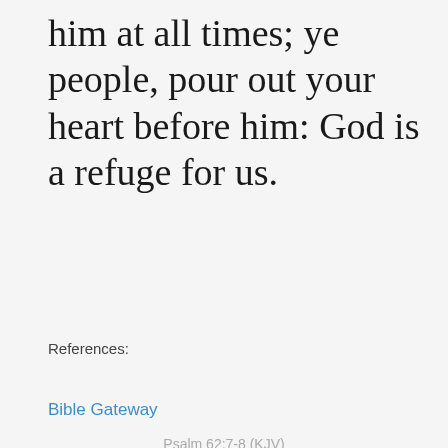him at all times; ye people, pour out your heart before him: God is a refuge for us.
Psalm 62:7-8 (KJV)
References:
Bible Gateway